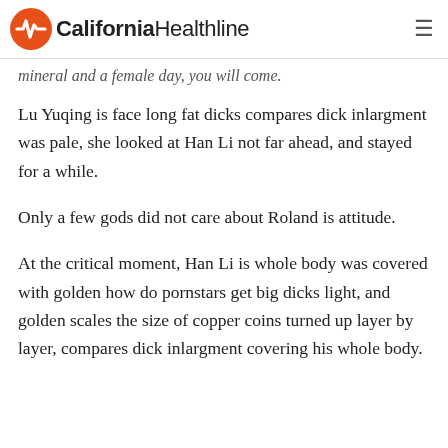California Healthline
mineral and a female day, you will come.
Lu Yuqing is face long fat dicks compares dick inlargment was pale, she looked at Han Li not far ahead, and stayed for a while.
Only a few gods did not care about Roland is attitude.
At the critical moment, Han Li is whole body was covered with golden how do pornstars get big dicks light, and golden scales the size of copper coins turned up layer by layer, compares dick inlargment covering his whole body.